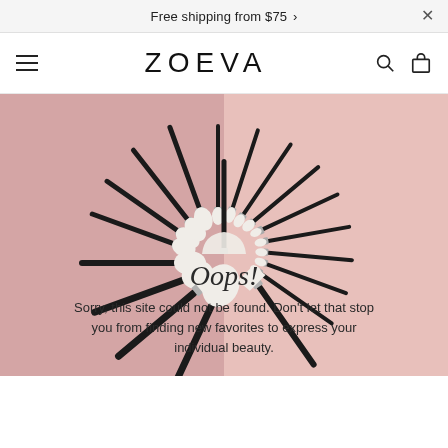Free shipping from $75
ZOEVA
[Figure (photo): ZOEVA makeup brushes arranged in a circular fan pattern on a split pink and mauve background. Black-handled brushes with white/silver ferrules and soft white bristles radiate outward from center. Various brush types including powder, eyeshadow, and detail brushes.]
Oops!
Sorry, this site could not be found. Don't let that stop you from finding new favorites to express your individual beauty.